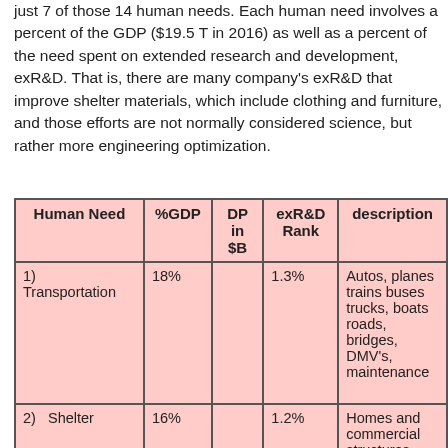just 7 of those 14 human needs. Each human need involves a percent of the GDP ($19.5 T in 2016) as well as a percent of the need spent on extended research and development, exR&D. That is, there are many company's exR&D that improve shelter materials, which include clothing and furniture, and those efforts are not normally considered science, but rather more engineering optimization.
| Human Need | %GDP | DP in $B | exR&D Rank | description |
| --- | --- | --- | --- | --- |
| 1)  Transportation | 18% |  | 1.3% | Autos, planes trains buses trucks, boats roads, bridges, DMV's, maintenance |
| 2)  Shelter | 16% |  | 1.2% | Homes and commercial structures, clothing |